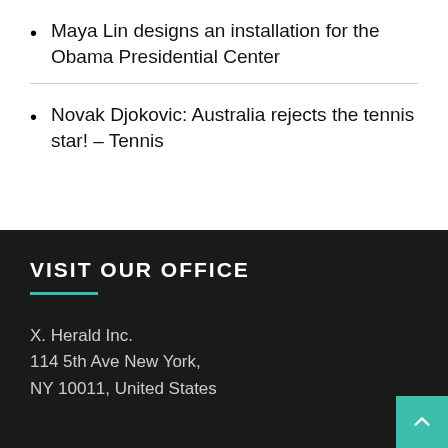Maya Lin designs an installation for the Obama Presidential Center
Novak Djokovic: Australia rejects the tennis star! – Tennis
VISIT OUR OFFICE
X. Herald Inc.
114 5th Ave New York,
NY 10011, United States